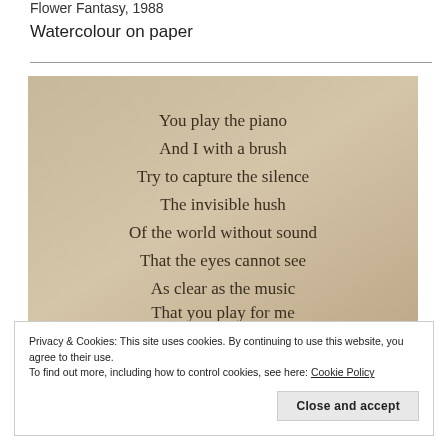Flower Fantasy, 1988
Watercolour on paper
[Figure (photo): A warm beige/tan background with a poem printed in dark serif text, centered. The poem reads: 'You play the piano / And I with a brush / Try to capture the silence / The invisible hush / Of the world without sound / That the eyes cannot see / As clear as the music / That you play for me']
Privacy & Cookies: This site uses cookies. By continuing to use this website, you agree to their use.
To find out more, including how to control cookies, see here: Cookie Policy
Close and accept